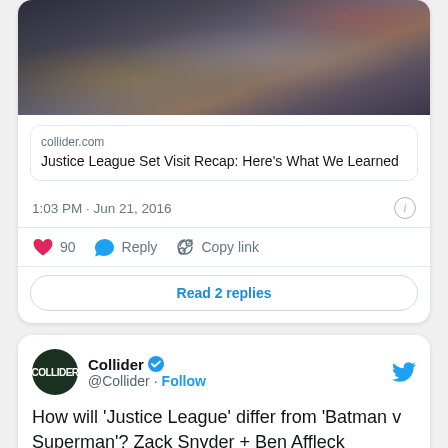[Figure (screenshot): Top portion of a tweet card showing a link preview for a collider.com article titled 'Justice League Set Visit Recap: Here's What We Learned' with a movie still image above it, timestamp '1:03 PM · Jun 21, 2016', action buttons (90 likes, Reply, Copy link), and a 'Read 2 replies' button]
collider.com
Justice League Set Visit Recap: Here's What We Learned
1:03 PM · Jun 21, 2016
90
Reply
Copy link
Read 2 replies
Collider @Collider · Follow
How will 'Justice League' differ from 'Batman v Superman'? Zack Snyder + Ben Affleck